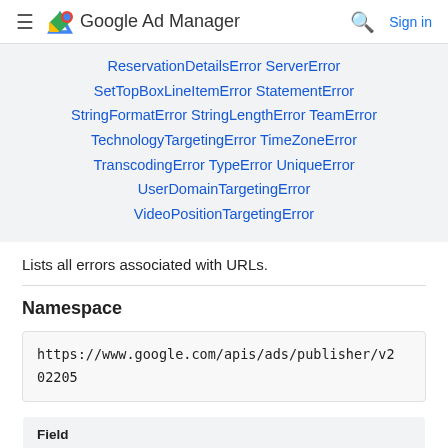Google Ad Manager
ReservationDetailsError ServerError SetTopBoxLineItemError StatementError StringFormatError StringLengthError TeamError TechnologyTargetingError TimeZoneError TranscodingError TypeError UniqueError UserDomainTargetingError VideoPositionTargetingError
Lists all errors associated with URLs.
Namespace
https://www.google.com/apis/ads/publisher/v202205
| Field |
| --- |